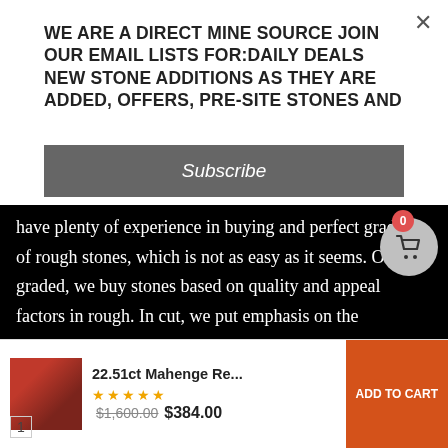WE ARE A DIRECT MINE SOURCE JOIN OUR EMAIL LISTS FOR:DAILY DEALS NEW STONE ADDITIONS AS THEY ARE ADDED, OFFERS, PRE-SITE STONES AND
Subscribe
have plenty of experience in buying and perfect grading of rough stones, which is not as easy as it seems. Once graded, we buy stones based on quality and appeal factors in rough. In cut, we put emphasis on the importance of good cutting on a stone and understand how a perfect cut dramatically adds value to the stone. Unless we state 'native cut', all stones are cut to excellent precision standards with a high polish. We set the standard in facet rough grading of gemstones. We are very well known by the miners in East Africa
22.51ct Mahenge Re... $1,600.00 $384.00
ADD TO CART